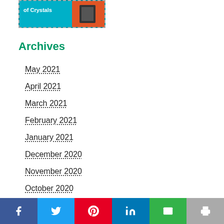[Figure (photo): Book cover image with teal background, partially visible text 'of Crystals']
Archives
May 2021
April 2021
March 2021
February 2021
January 2021
December 2020
November 2020
October 2020
Facebook | Twitter | Pinterest | LinkedIn | Email | Print